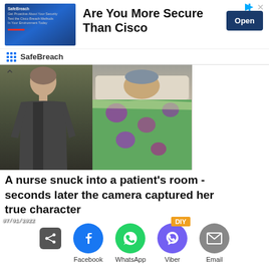[Figure (screenshot): SafeBreach advertisement banner: blue image on left with text 'Get Proactive About Your Security Test the Cisco Breach Methods In Your Environment Today', headline 'Are You More Secure Than Cisco', Open button, SafeBreach logo and name at bottom]
[Figure (photo): News article thumbnail showing a person on the left side and a patient lying in a hospital bed covered with a colorful floral blanket on the right side]
A nurse snuck into a patient's room - seconds later the camera captured her true character
[Figure (photo): Second article thumbnail dated 07/01/2022 showing red onion pieces on a plate on the left and a green plant on the right, with a DIY badge in the top right corner]
Facebook  WhatsApp  Viber  Email